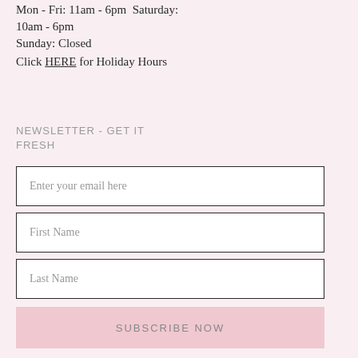Mon - Fri: 11am - 6pm  Saturday: 10am - 6pm
Sunday: Closed
Click HERE for Holiday Hours
NEWSLETTER - GET IT FRESH
Enter your email here
First Name
Last Name
SUBSCRIBE NOW